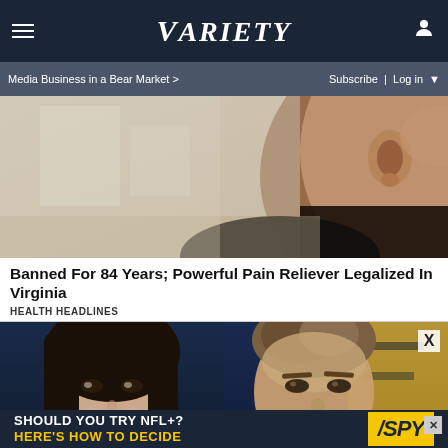VARIETY
Media Business in a Bear Market >  Subscribe | Log in
[Figure (photo): Close-up photo of a person's face and ear, dark background, editorial style]
Banned For 84 Years; Powerful Pain Reliever Legalized In Virginia
HEALTH HEADLINES
[Figure (photo): Two photos side by side: left shows a woman with dark hair and dramatic makeup; right shows a man with light brown hair at an event with gold/yellow background]
[Figure (other): Advertisement banner: SHOULD YOU TRY NFL+? HERE'S HOW TO DECIDE with SPY logo]